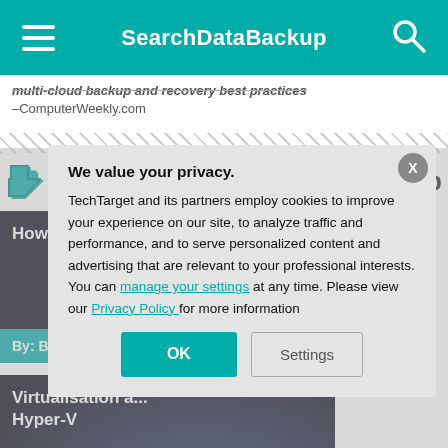SearchDataBackup
multi-cloud backup and recovery best practices –ComputerWeekly.com
Dig Deeper on Cloud backup
[Figure (screenshot): Thumbnail image card: How have disk... By: Brien Posey]
[Figure (screenshot): Thumbnail image card: Virtualisation a... Hyper-V]
We value your privacy. TechTarget and its partners employ cookies to improve your experience on our site, to analyze traffic and performance, and to serve personalized content and advertising that are relevant to your professional interests. You can manage your settings at any time. Please view our Privacy Policy for more information
OK  Settings